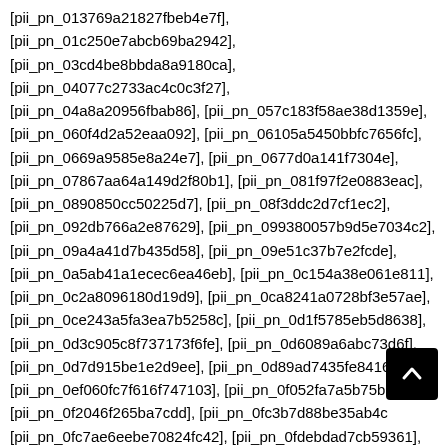[pii_pn_013769a21827fbeb4e7f], [pii_pn_01c250e7abcb69ba2942], [pii_pn_03cd4be8bbda8a9180ca], [pii_pn_04077c2733ac4c0c3f27], [pii_pn_04a8a20956fbab86], [pii_pn_057c183f58ae38d1359e], [pii_pn_060f4d2a52eaa092], [pii_pn_06105a5450bbfc7656fc], [pii_pn_0669a9585e8a24e7], [pii_pn_0677d0a141f7304e], [pii_pn_07867aa64a149d2f80b1], [pii_pn_081f97f2e0883eac], [pii_pn_0890850cc50225d7], [pii_pn_08f3ddc2d7cf1ec2], [pii_pn_092db766a2e87629], [pii_pn_099380057b9d5e7034c2], [pii_pn_09a4a41d7b435d58], [pii_pn_09e51c37b7e2fcde], [pii_pn_0a5ab41a1ecec6ea46eb], [pii_pn_0c154a38e061e811], [pii_pn_0c2a8096180d19d9], [pii_pn_0ca8241a0728bf3e57ae], [pii_pn_0ce243a5fa3ea7b5258c], [pii_pn_0d1f5785eb5d8638], [pii_pn_0d3c905c8f737173f6fe], [pii_pn_0d6089a6abc73d6f], [pii_pn_0d7d915be1e2d9ee], [pii_pn_0d89ad7435fe8416], [pii_pn_0ef060fc7f616f747103], [pii_pn_0f052fa7a5b75b...], [pii_pn_0f2046f265ba7cdd], [pii_pn_0fc3b7d88be35ab4c...], [pii_pn_0fc7ae6eebe70824fc42], [pii_pn_0fdebdad7cb59361], [pii_pn_10...]